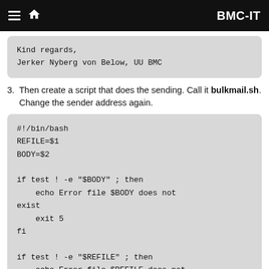BMC-IT
Kind regards,
Jerker Nyberg von Below, UU BMC
3. Then create a script that does the sending. Call it bulkmail.sh. Change the sender address again.
#!/bin/bash
REFILE=$1
BODY=$2

if test ! -e "$BODY" ; then
    echo Error file $BODY does not exist
    exit 5
fi

if test ! -e "$REFILE" ; then
    echo Error file $REFILE does not